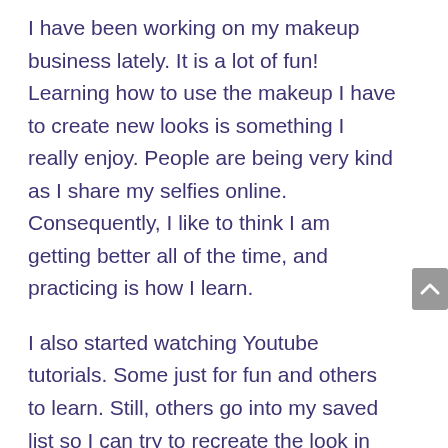I have been working on my makeup business lately. It is a lot of fun! Learning how to use the makeup I have to create new looks is something I really enjoy. People are being very kind as I share my selfies online. Consequently, I like to think I am getting better all of the time, and practicing is how I learn.
I also started watching Youtube tutorials. Some just for fun and others to learn. Still, others go into my saved list so I can try to recreate the look in them. One of my friends asked for help with her eye makeup, and I found some videos for her, too. It will be great to see if they help her to get the look she wants.